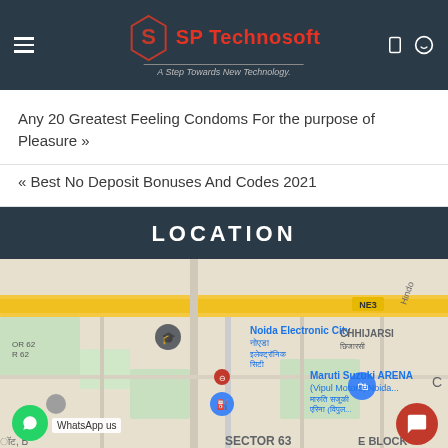SP Technosoft — A Step Towards New Technology.
Any 20 Greatest Feeling Condoms For the purpose of Pleasure »
« Best No Deposit Bonuses And Codes 2021
LOCATION
[Figure (map): Google Maps showing Noida Electronic City area with locations including Maruti Suzuki ARENA (Vipul Motors, Noida), CHHIJARSI, SECTOR 63, NE3 label, and Hindi text labels. WhatsApp and chat floating buttons visible.]